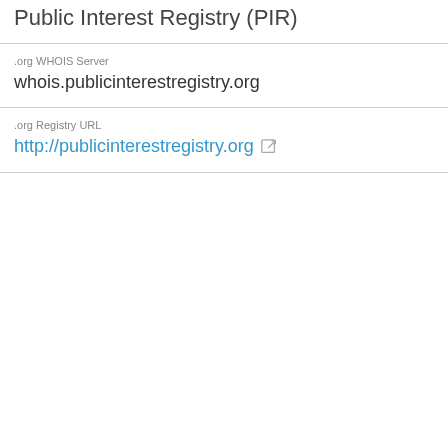Public Interest Registry (PIR)
.org WHOIS Server
whois.publicinterestregistry.org
.org Registry URL
http://publicinterestregistry.org